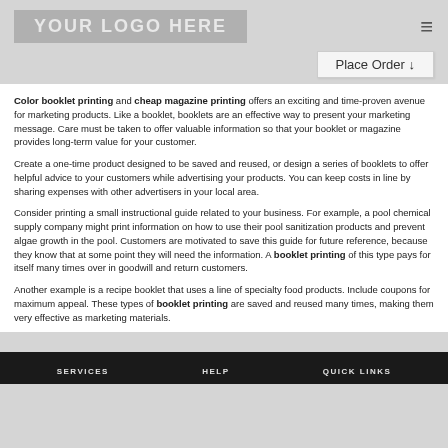[Figure (logo): YOUR LOGO HERE placeholder logo box]
Place Order ↓
Color booklet printing and cheap magazine printing offers an exciting and time-proven avenue for marketing products. Like a booklet, booklets are an effective way to present your marketing message. Care must be taken to offer valuable information so that your booklet or magazine provides long-term value for your customer.
Create a one-time product designed to be saved and reused, or design a series of booklets to offer helpful advice to your customers while advertising your products. You can keep costs in line by sharing expenses with other advertisers in your local area.
Consider printing a small instructional guide related to your business. For example, a pool chemical supply company might print information on how to use their pool sanitization products and prevent algae growth in the pool. Customers are motivated to save this guide for future reference, because they know that at some point they will need the information. A booklet printing of this type pays for itself many times over in goodwill and return customers.
Another example is a recipe booklet that uses a line of specialty food products. Include coupons for maximum appeal. These types of booklet printing are saved and reused many times, making them very effective as marketing materials.
SERVICES   HELP   QUICK LINKS